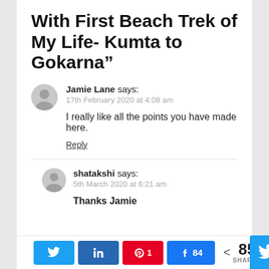With First Beach Trek of My Life- Kumta to Gokarna”
Jamie Lane says:
17th February 2020 at 4:08 am
I really like all the points you have made here.
Reply
shatakshi says:
5th March 2020 at 6:21 am
Thanks Jamie
[Figure (infographic): Social share bar with Twitter, LinkedIn, Pinterest (1), Facebook (84) buttons and total 85 SHARES count]